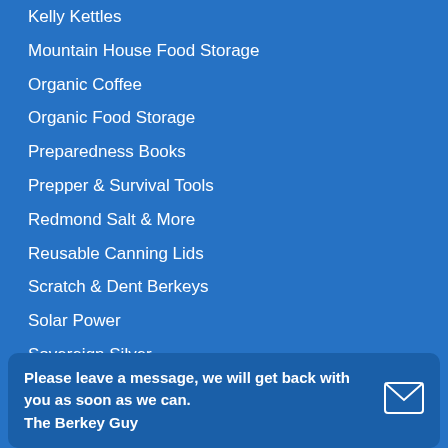Kelly Kettles
Mountain House Food Storage
Organic Coffee
Organic Food Storage
Preparedness Books
Prepper & Survival Tools
Redmond Salt & More
Reusable Canning Lids
Scratch & Dent Berkeys
Solar Power
Sovereign Silver
Survival Cave Food Storage
Survival Kits
Uncategorized
Water Storage
Watersafe Test Kit
Yo Yo Fishing Reels
Please leave a message, we will get back with you as soon as we can. The Berkey Guy